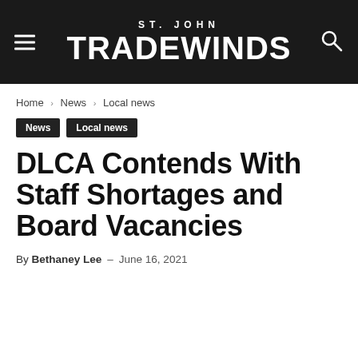ST. JOHN TRADEWINDS
Home › News › Local news
News  Local news
DLCA Contends With Staff Shortages and Board Vacancies
By Bethaney Lee – June 16, 2021